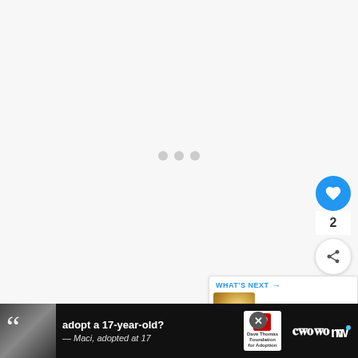[Figure (other): Loading spinner with three gray dots centered in a light gray content area]
[Figure (other): Blue circular heart/like button with count of 2 and a share button below]
[Figure (other): What's Next panel showing thumbnail and text 'Top 9 Unsalted Butter...']
[Figure (other): Advertisement bar at bottom: 'adopt a 17-year-old?' with quote from Maci, Dave Thomas Foundation for Adoption logo, and Meaww logo]